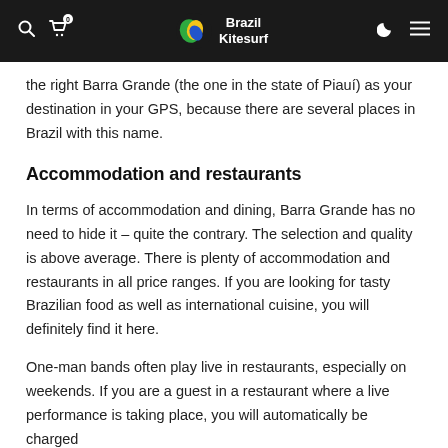Brazil Kitesurf
the right Barra Grande (the one in the state of Piauí) as your destination in your GPS, because there are several places in Brazil with this name.
Accommodation and restaurants
In terms of accommodation and dining, Barra Grande has no need to hide it – quite the contrary. The selection and quality is above average. There is plenty of accommodation and restaurants in all price ranges. If you are looking for tasty Brazilian food as well as international cuisine, you will definitely find it here.
One-man bands often play live in restaurants, especially on weekends. If you are a guest in a restaurant where a live performance is taking place, you will automatically be charged